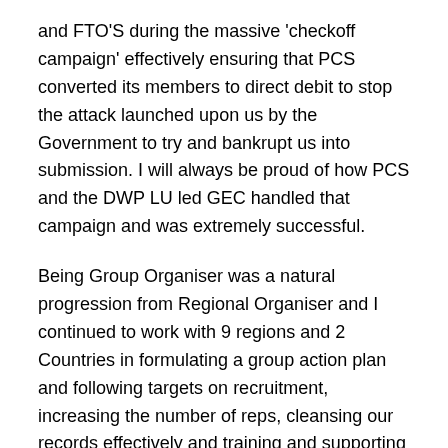and FTO'S during the massive 'checkoff campaign' effectively ensuring that PCS converted its members to direct debit to stop the attack launched upon us by the Government to try and bankrupt us into submission. I will always be proud of how PCS and the DWP LU led GEC handled that campaign and was extremely successful.
Being Group Organiser was a natural progression from Regional Organiser and I continued to work with 9 regions and 2 Countries in formulating a group action plan and following targets on recruitment, increasing the number of reps, cleansing our records effectively and training and supporting new activists and advocates.
The Organiser role also included learning and I actively worked with all officers to ensure a lifelong learning programme was available to all and negotiated with ER for